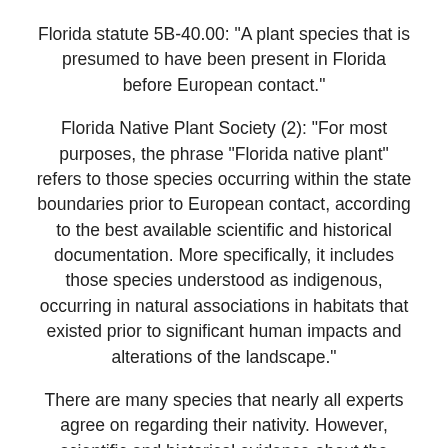Florida statute 5B-40.00: "A plant species that is presumed to have been present in Florida before European contact."
Florida Native Plant Society (2): "For most purposes, the phrase "Florida native plant" refers to those species occurring within the state boundaries prior to European contact, according to the best available scientific and historical documentation. More specifically, it includes those species understood as indigenous, occurring in natural associations in habitats that existed prior to significant human impacts and alterations of the landscape."
There are many species that nearly all experts agree on regarding their nativity. However, scientific and historical evidence about the